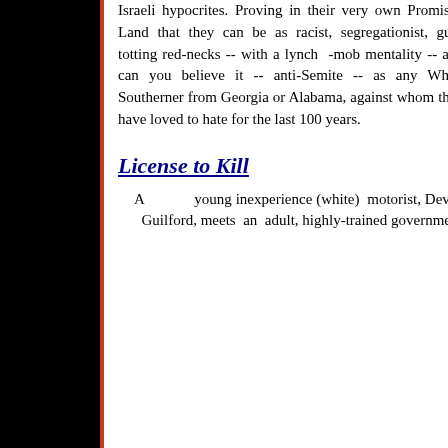Israeli hypocrites. Proving in their very own Promised Land that they can be as racist, segregationist, gun-totting rednecks -- with a lynch -mob mentality -- and can you believe it -- anti-Semite -- as any White Southerner from Georgia or Alabama, against whom they have loved to hate for the last 100 years.
License to Kill
A young inexperience (white) motorist, Devan Guilford, meets an adult, highly-trained government